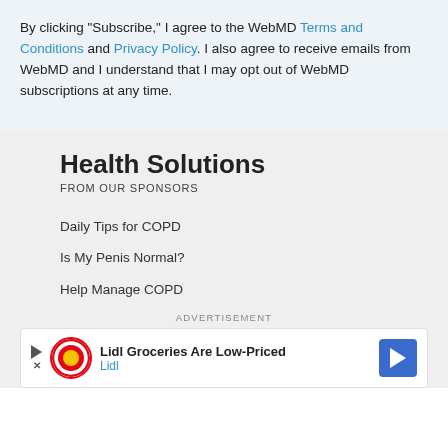By clicking "Subscribe," I agree to the WebMD Terms and Conditions and Privacy Policy. I also agree to receive emails from WebMD and I understand that I may opt out of WebMD subscriptions at any time.
Health Solutions FROM OUR SPONSORS
Daily Tips for COPD
Is My Penis Normal?
Help Manage COPD
[Figure (other): Advertisement banner for Lidl Groceries with Lidl logo, text 'Lidl Groceries Are Low-Priced' and a blue arrow button]